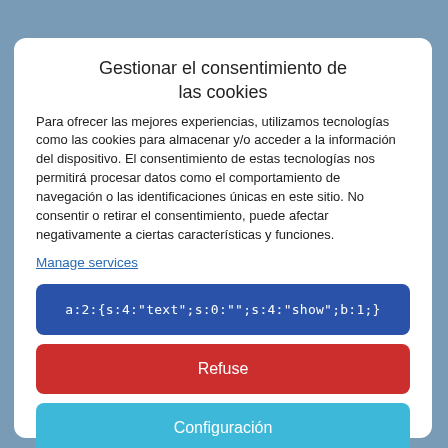Gestionar el consentimiento de las cookies
Para ofrecer las mejores experiencias, utilizamos tecnologías como las cookies para almacenar y/o acceder a la información del dispositivo. El consentimiento de estas tecnologías nos permitirá procesar datos como el comportamiento de navegación o las identificaciones únicas en este sitio. No consentir o retirar el consentimiento, puede afectar negativamente a ciertas características y funciones.
Manage services
a:2:{s:4:"text";s:0:"";s:4:"show";b:1;}
Refuse
Configuración
Cookie policy  Privacy policy